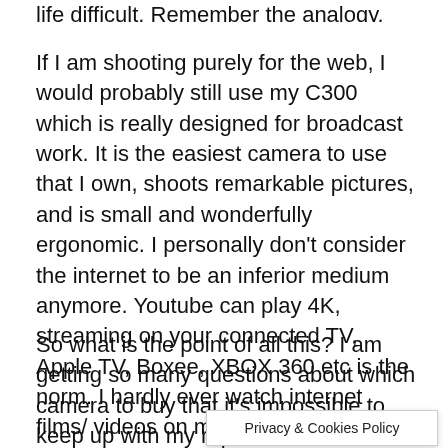life difficult. Remember the analogy.
If I am shooting purely for the web, I would probably still use my C300 which is really designed for broadcast work. It is the easiest camera to use that I own, shoots remarkable pictures, and is small and wonderfully ergonomic. I personally don't consider the internet to be an inferior medium anymore. Youtube can play 4K, streaming on your connected TV, Apple TV, Boxee, XBOX 360 etc is the norm. I hardly ever watch internet films/ videos on my laptop anymore. That is why I always shoot on great cameras when I can, even for the web. The web is the platform of the future.
So what is the point of all this? I am getting so many questions about which camera to buy that it's impossible to keep up with my replies. It's understandable though as it's very confusing now. This post is designed to answer those questions for you or at le source of
Privacy & Cookies Policy